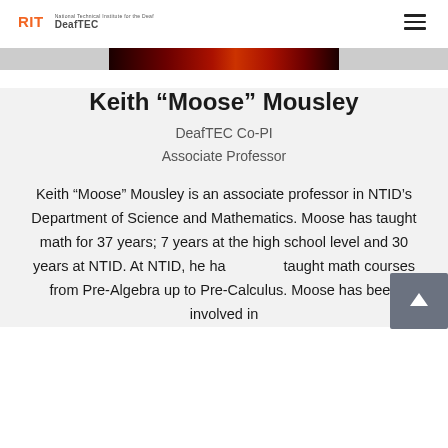RIT DeafTEC
[Figure (photo): Partial view of a dark red/maroon banner photo at the top of the content area]
Keith “Moose” Mousley
DeafTEC Co-PI
Associate Professor
Keith “Moose” Mousley is an associate professor in NTID’s Department of Science and Mathematics. Moose has taught math for 37 years; 7 years at the high school level and 30 years at NTID. At NTID, he has taught math courses from Pre-Algebra up to Pre-Calculus. Moose has been involved in